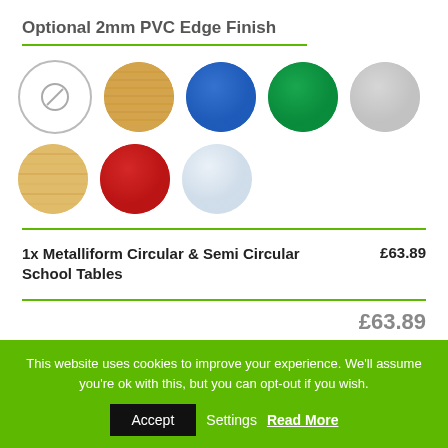Optional 2mm PVC Edge Finish
[Figure (illustration): Eight color swatches shown as circles: None (white with slash), Oak/bamboo wood grain, Blue, Green, Light grey, Light wood grain, Red, White/light blue]
1x Metalliform Circular & Semi Circular School Tables  £63.89
£63.89
This website uses cookies to improve your experience. We'll assume you're ok with this, but you can opt-out if you wish.
Accept  Settings  Read More